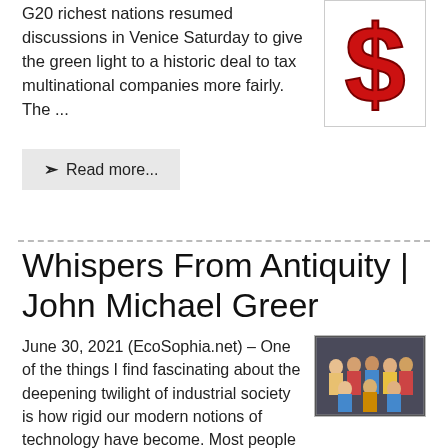G20 richest nations resumed discussions in Venice Saturday to give the green light to a historic deal to tax multinational companies more fairly. The ...
[Figure (illustration): Red dollar sign on white background]
Read more...
Whispers From Antiquity | John Michael Greer
June 30, 2021 (EcoSophia.net) – One of the things I find fascinating about the deepening twilight of industrial society is how rigid our modern notions of technology have become. Most people these d ...
[Figure (photo): Group photo of Star Trek crew members in colorful uniforms]